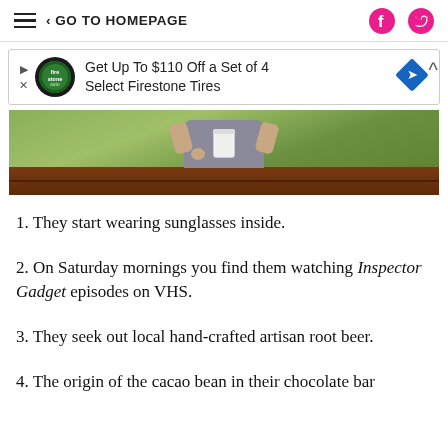GO TO HOMEPAGE
[Figure (other): Advertisement banner: Get Up To $110 Off a Set of 4 Select Firestone Tires, with Firestone auto logo and blue diamond direction icon]
[Figure (photo): Cropped photo of a child in a gray shirt holding a glass jar of milk, standing near a raised wooden garden bed with green plants in the background]
1. They start wearing sunglasses inside.
2. On Saturday mornings you find them watching Inspector Gadget episodes on VHS.
3. They seek out local hand-crafted artisan root beer.
4. The origin of the cacao bean in their chocolate bar